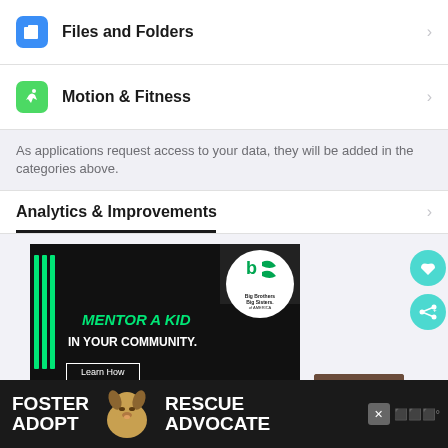Files and Folders
Motion & Fitness
As applications request access to your data, they will be added in the categories above.
Analytics & Improvements
[Figure (screenshot): Big Brothers Big Sisters advertisement: 'MENTOR A KID IN YOUR COMMUNITY.' with Learn How button on dark background with green stripes]
[Figure (photo): Bottom banner advertisement: FOSTER ADOPT / RESCUE ADVOCATE with dog photo]